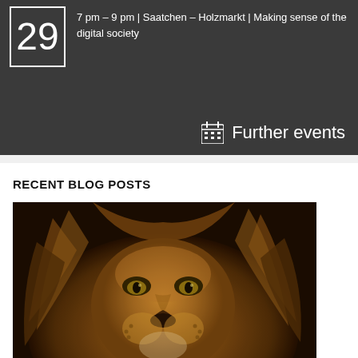7 pm – 9 pm | Saatchen – Holzmarkt | Making sense of the digital society
Further events
RECENT BLOG POSTS
[Figure (photo): Close-up photograph of a lion's face with golden-brown mane, intense eyes looking forward, against a dark background]